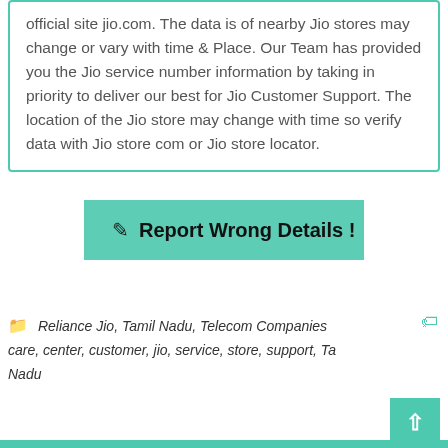official site jio.com. The data is of nearby Jio stores may change or vary with time & Place. Our Team has provided you the Jio service number information by taking in priority to deliver our best for Jio Customer Support. The location of the Jio store may change with time so verify data with Jio store com or Jio store locator.
Report Wrong Details !
Reliance Jio, Tamil Nadu, Telecom Companies care, center, customer, jio, service, store, support, Tamil Nadu